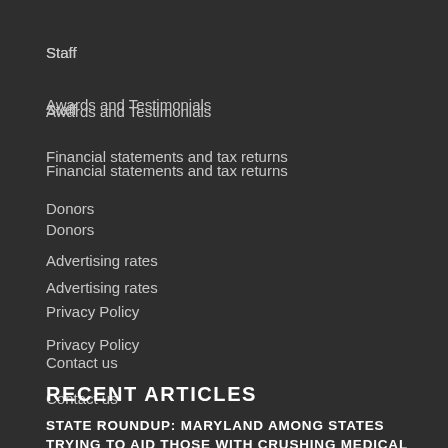Staff
Awards and Testimonials
Financial statements and tax returns
Donors
Advertising rates
Privacy Policy
Contact us
RECENT ARTICLES
STATE ROUNDUP: MARYLAND AMONG STATES TRYING TO AID THOSE WITH CRUSHING MEDICAL DEBT; MDE CALLED OUT FOR FAILURE TO CITE